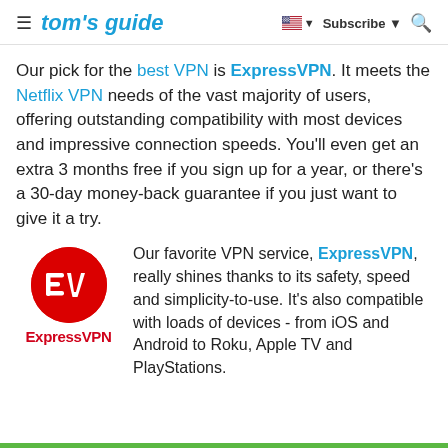tom's guide | Subscribe
Our pick for the best VPN is ExpressVPN. It meets the Netflix VPN needs of the vast majority of users, offering outstanding compatibility with most devices and impressive connection speeds. You'll even get an extra 3 months free if you sign up for a year, or there's a 30-day money-back guarantee if you just want to give it a try.
[Figure (logo): ExpressVPN logo: red circle with stylized EV letters and ExpressVPN wordmark below in red]
Our favorite VPN service, ExpressVPN, really shines thanks to its safety, speed and simplicity-to-use. It's also compatible with loads of devices - from iOS and Android to Roku, Apple TV and PlayStations.